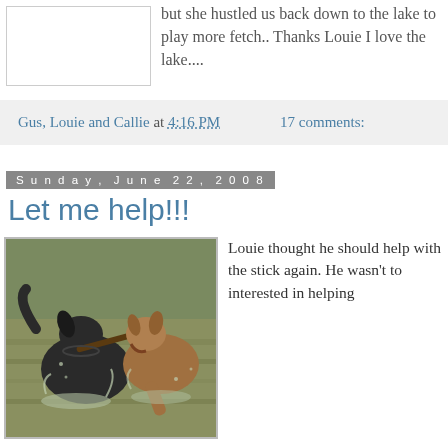[Figure (photo): A photo placeholder (white box with border) at top left of the page]
but she hustled us back down to the lake to play more fetch.. Thanks Louie I love the lake....
Gus, Louie and Callie at 4:16 PM   17 comments:
Sunday, June 22, 2008
Let me help!!!
[Figure (photo): Two dogs playing in a lake with a stick. One dark/blue heeler dog and one reddish/tan dog splashing in brown water.]
Louie thought he should help with the stick again. He wasn't to interested in helping